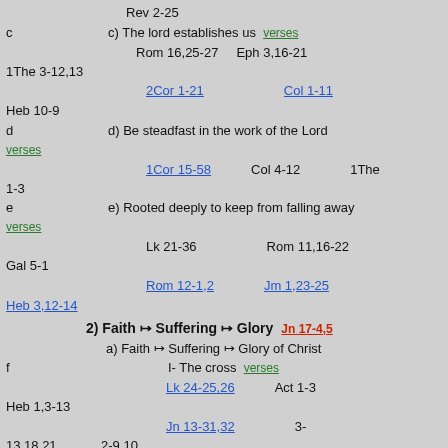Rev 2-25
c   c) The lord establishes us   verses
Rom 16,25-27   Eph 3,16-21   1The 3-12,13
2Cor 1-21   Col 1-11
Heb 10-9
d   d) Be steadfast in the work of the Lord   verses
1Cor 15-58   Col 4-12   1The 1-3
e   e) Rooted deeply to keep from falling away   verses
Lk 21-36   Rom 11,16-22   Gal 5-1
Rom 12-1,2   Jm 1,23-25
Heb 3,12-14
2) Faith → Suffering → Glory   Jn 17-4,5
a) Faith → Suffering → Glory of Christ
f   I- The cross   verses
Lk 24-25,26   Act 1-3   Heb 1,3-13
Jn 13-31,32   3-13,18,21   2-9,10
17-1,4,5   Eph 1,20-23   5,5-9